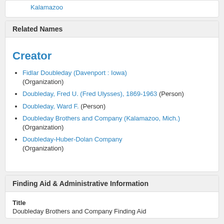Kalamazoo
Related Names
Creator
Fidlar Doubleday (Davenport : Iowa) (Organization)
Doubleday, Fred U. (Fred Ulysses), 1869-1963 (Person)
Doubleday, Ward F. (Person)
Doubleday Brothers and Company (Kalamazoo, Mich.) (Organization)
Doubleday-Huber-Dolan Company (Organization)
Finding Aid & Administrative Information
Title
Doubleday Brothers and Company Finding Aid